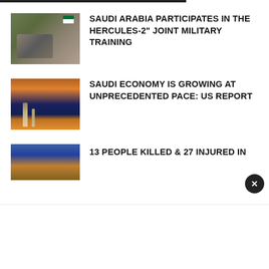SAUDI ARABIA PARTICIPATES IN THE HERCULES-2" JOINT MILITARY TRAINING
SAUDI ECONOMY IS GROWING AT UNPRECEDENTED PACE: US REPORT
13 PEOPLE KILLED & 27 INJURED IN
Hi there 👋
Sign up to receive awesome content in your inbox, every month.
Email Address *